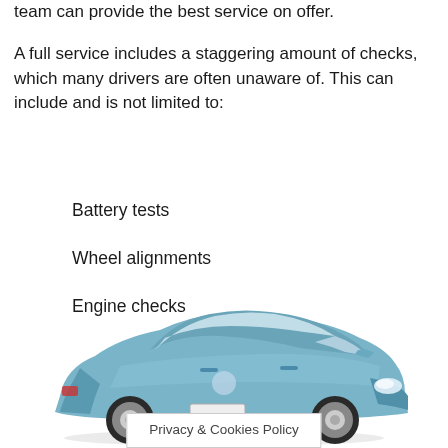team can provide the best service on offer.
A full service includes a staggering amount of checks, which many drivers are often unaware of. This can include and is not limited to:
Battery tests
Wheel alignments
Engine checks
[Figure (photo): Blue Volkswagen Golf hatchback car photographed from a front three-quarter angle on a white background]
Privacy & Cookies Policy